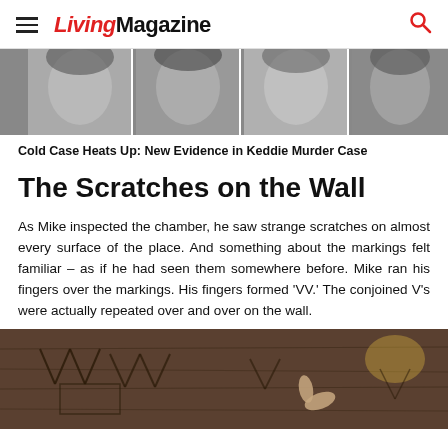LivingMagazine
[Figure (photo): Black and white portrait photos of four people side by side]
Cold Case Heats Up: New Evidence in Keddie Murder Case
The Scratches on the Wall
As Mike inspected the chamber, he saw strange scratches on almost every surface of the place. And something about the markings felt familiar – as if he had seen them somewhere before. Mike ran his fingers over the markings. His fingers formed ‘VV.’ The conjoined V’s were actually repeated over and over on the wall.
[Figure (photo): Close-up photo of scratched VV markings on a dark wooden or stone surface, with a hand visible pointing at the markings]